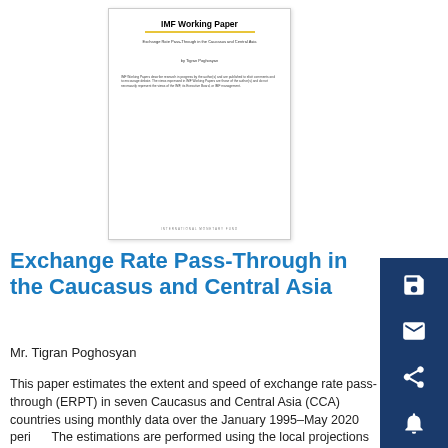[Figure (illustration): Thumbnail of IMF Working Paper cover page showing title 'IMF Working Paper', subtitle 'Exchange Rate Pass-Through in the Caucasus and Central Asia', author line, body text, and INTERNATIONAL MONETARY FUND footer with yellow rule line.]
Exchange Rate Pass-Through in the Caucasus and Central Asia
Mr. Tigran Poghosyan
This paper estimates the extent and speed of exchange rate pass-through (ERPT) in seven Caucasus and Central Asia (CCA) countries using monthly data over the January 1995–May 2020 period. The estimations are performed using the local projections method. We find that the average pass-through in the CCA is about 10 percent on impact and about 25 p
... Show More
Keywords:  WP; confidence interval; CPI inflation; CCA country; inflation environment; currency vis-à-vis; IMF